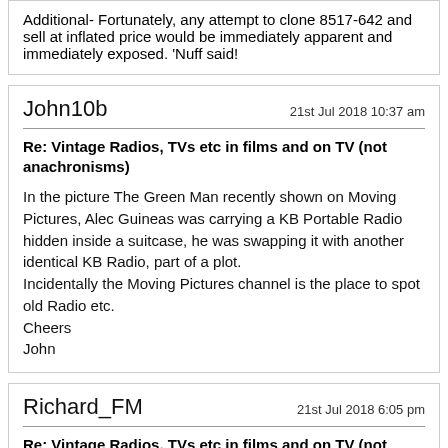Additional- Fortunately, any attempt to clone 8517-642 and sell at inflated price would be immediately apparent and immediately exposed. 'Nuff said!
John10b
21st Jul 2018 10:37 am
Re: Vintage Radios, TVs etc in films and on TV (not anachronisms)
In the picture The Green Man recently shown on Moving Pictures, Alec Guineas was carrying a KB Portable Radio hidden inside a suitcase, he was swapping it with another identical KB Radio, part of a plot.
Incidentally the Moving Pictures channel is the place to spot old Radio etc.
Cheers
John
Richard_FM
21st Jul 2018 6:05 pm
Re: Vintage Radios, TVs etc in films and on TV (not anachronisms)
Talking of Alec Guinness the tv adaptation of tinker tailor soldier spy has operative sam Collins watching a small b/w set while on a night monitoring shift- mostly a football match with Ipswich town playing